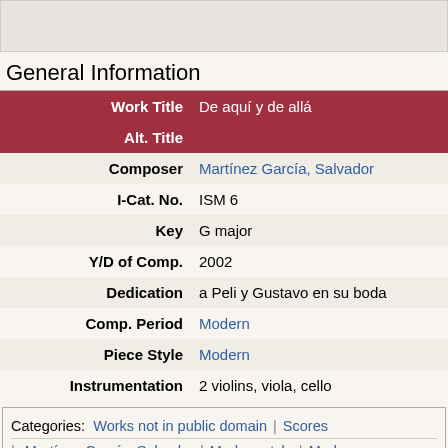[Figure (other): Top image placeholder area, gray background]
General Information
| Field | Value |
| --- | --- |
| Work Title | De aquí y de allá |
| Alt. Title |  |
| Composer | Martínez García, Salvador |
| I-Cat. No. | ISM 6 |
| Key | G major |
| Y/D of Comp. | 2002 |
| Dedication | a Peli y Gustavo en su boda |
| Comp. Period | Modern |
| Piece Style | Modern |
| Instrumentation | 2 violins, viola, cello |
Categories: Works not in public domain | Scores | Martínez García, Salvador | Modern style | Modern | Pieces | For 2 violins, viola, cello | Scores featuring the violin | Scores featuring the viola | Scores featuring the cello